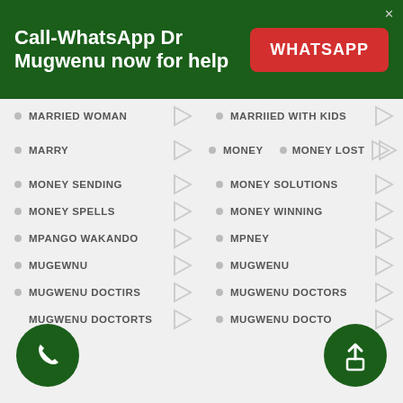Call-WhatsApp Dr Mugwenu now for help
MARRIED WOMAN
MARRIIED WITH KIDS
MARRY
MONEY
MONEY LOST
MONEY SENDING
MONEY SOLUTIONS
MONEY SPELLS
MONEY WINNING
MPANGO WAKANDO
MPNEY
MUGEWNU
MUGWENU
MUGWENU DOCTIRS
MUGWENU DOCTORS
MUGWENU DOCTORTS
MUGWENU DOCTO